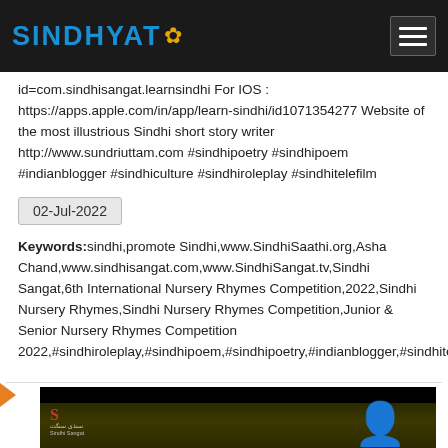SINDHYAT
id=com.sindhisangat.learnsindhi For IOS : https://apps.apple.com/in/app/learn-sindhi/id1071354277 Website of the most illustrious Sindhi short story writer http://www.sundriuttam.com #sindhipoetry #sindhipoem #indianblogger #sindhiculture #sindhiroleplay #sindhitelefilm
02-Jul-2022
Keywords:sindhi,promote Sindhi,www.SindhiSaathi.org,Asha Chand,www.sindhisangat.com,www.SindhiSangat.tv,Sindhi Sangat,6th International Nursery Rhymes Competition,2022,Sindhi Nursery Rhymes,Sindhi Nursery Rhymes Competition,Junior & Senior Nursery Rhymes Competition 2022,#sindhiroleplay,#sindhipoem,#sindhipoetry,#indianblogger,#sindhitelefilm
[Figure (screenshot): Video thumbnail showing a person with flowers, Sindhi Sangat logo visible]